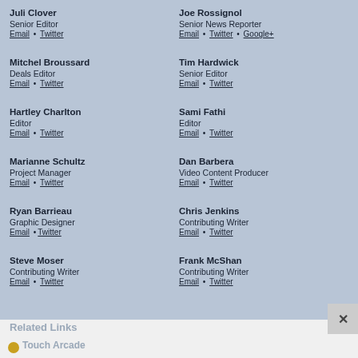Juli Clover
Senior Editor
Email • Twitter
Joe Rossignol
Senior News Reporter
Email • Twitter • Google+
Mitchel Broussard
Deals Editor
Email • Twitter
Tim Hardwick
Senior Editor
Email • Twitter
Hartley Charlton
Editor
Email • Twitter
Sami Fathi
Editor
Email • Twitter
Marianne Schultz
Project Manager
Email • Twitter
Dan Barbera
Video Content Producer
Email • Twitter
Ryan Barrieau
Graphic Designer
Email •Twitter
Chris Jenkins
Contributing Writer
Email • Twitter
Steve Moser
Contributing Writer
Email • Twitter
Frank McShan
Contributing Writer
Email • Twitter
Related Links
Touch Arcade